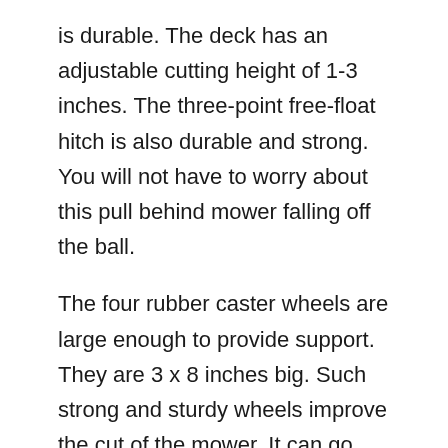is durable. The deck has an adjustable cutting height of 1-3 inches. The three-point free-float hitch is also durable and strong. You will not have to worry about this pull behind mower falling off the ball.
The four rubber caster wheels are large enough to provide support. They are 3 x 8 inches big. Such strong and sturdy wheels improve the cut of the mower. It can go over rough terrain without any trouble.
FAQ:
Before you go, there are a few more things you need to learn about lawn mowers for 3 acres to 5 acres.